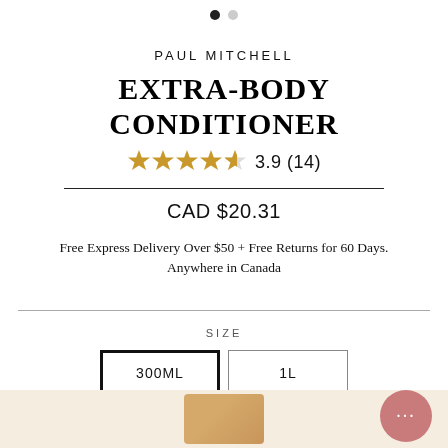[Figure (other): Pagination indicator dots: one filled dark dot and one light grey dot]
PAUL MITCHELL
EXTRA-BODY CONDITIONER
3.9 (14) — star rating with 4 filled stars and 1 partial star
CAD $20.31
Free Express Delivery Over $50 + Free Returns for 60 Days. Anywhere in Canada
SIZE
300ML  1L (size selector buttons)
In Stock